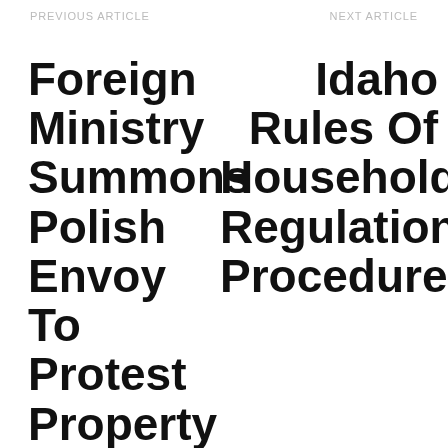PREVIOUS ARTICLE    NEXT ARTICLE
Foreign Ministry Summons Polish Envoy To Protest Property Restitution Law
Idaho Rules Of Household Regulation Procedure